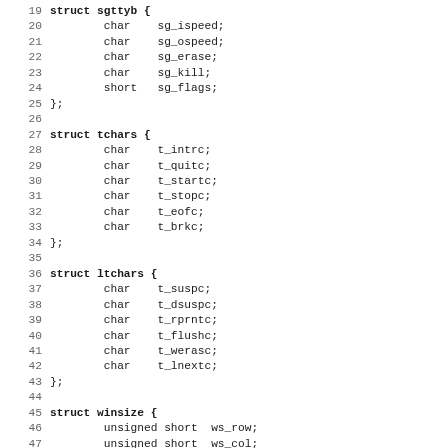[Figure (other): Source code listing showing C struct definitions for sgttyb (partial), tchars, ltchars, and winsize structures, with line numbers 19-51]